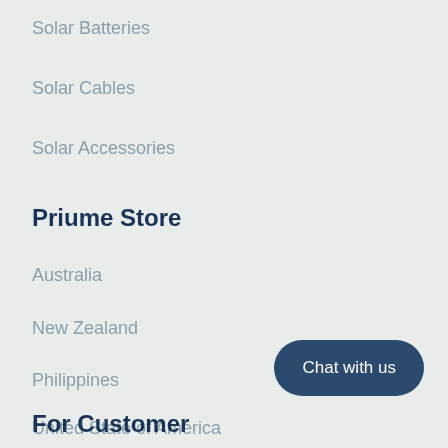Solar Batteries
Solar Cables
Solar Accessories
Priume Store
Australia
New Zealand
Philippines
United State of America
For Customer
Chat with us